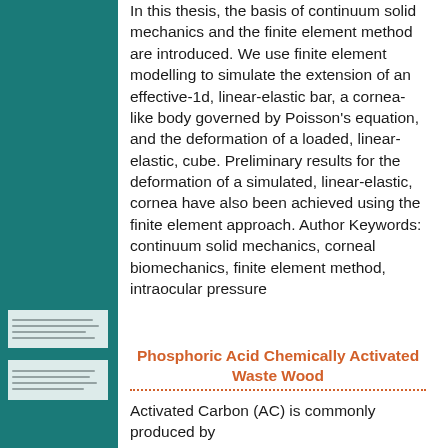In this thesis, the basis of continuum solid mechanics and the finite element method are introduced. We use finite element modelling to simulate the extension of an effective-1d, linear-elastic bar, a cornea-like body governed by Poisson's equation, and the deformation of a loaded, linear-elastic, cube. Preliminary results for the deformation of a simulated, linear-elastic, cornea have also been achieved using the finite element approach. Author Keywords: continuum solid mechanics, corneal biomechanics, finite element method, intraocular pressure
Phosphoric Acid Chemically Activated Waste Wood
Activated Carbon (AC) is commonly produced by